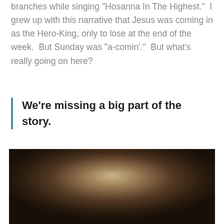branches while singing "Hosanna In The Highest."  I grew up with this narrative that Jesus was coming in as the Hero-King, only to lose at the end of the week.  But Sunday was "a-comin'."  But what's really going on here?
We're missing a big part of the story.
[Figure (photo): Blurry dark atmospheric photo with warm golden light in the center fading to dark brown/black edges, suggesting an interior or spiritual ambiance.]